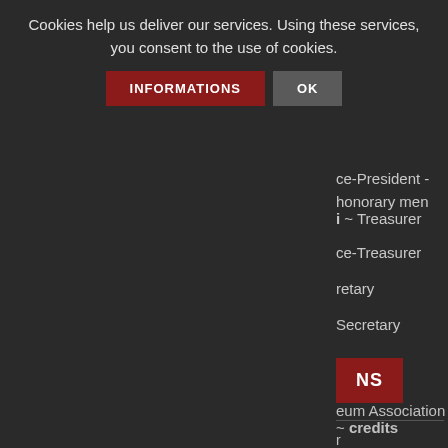Cookies help us deliver our services. Using these services, you consent to the use of cookies.
INFORMATIONS
OK
Vice-President - honorary men
i ~ Treasurer
ce-Treasurer
retary
Secretary
NS
r
eum Association ~ credits